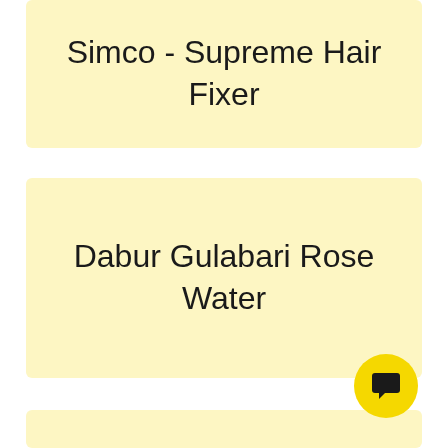Simco - Supreme Hair Fixer
Dabur Gulabari Rose Water
[Figure (other): Yellow circular chat/support button with a speech bubble icon]